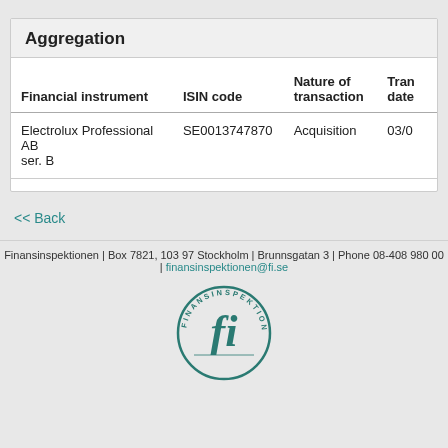Aggregation
| Financial instrument | ISIN code | Nature of transaction | Tran date |
| --- | --- | --- | --- |
| Electrolux Professional AB ser. B | SE0013747870 | Acquisition | 03/0 |
<< Back
Finansinspektionen | Box 7821, 103 97 Stockholm | Brunnsgatan 3 | Phone 08-408 980 00 | finansinspektionen@fi.se
[Figure (logo): Finansinspektionen circular logo with 'fi' monogram in teal]